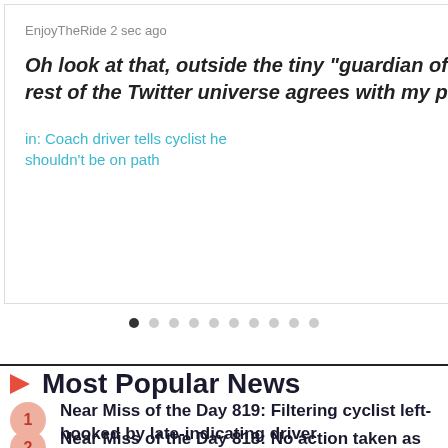EnjoyTheRide 2 sec ago
Oh look at that, outside the tiny "guardian of road.cc" echo chamber, the rest of the Twitter universe agrees with my point of view....
in: Coach driver tells cyclist he shouldn't be on path
[Figure (other): Pagination dots: 10 dots, first one filled/active, rest hollow]
Most Popular News
Near Miss of the Day 819: Filtering cyclist left-hooked by late-indicating driver
Near Miss of the Day 818: No action taken as